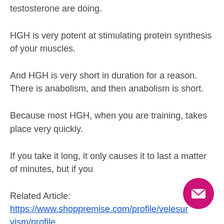testosterone are doing.
HGH is very potent at stimulating protein synthesis of your muscles.
And HGH is very short in duration for a reason. There is anabolism, and then anabolism is short.
Because most HGH, when you are training, takes place very quickly.
If you take it long, it only causes it to last a matter of minutes, but if you
Related Article:
https://www.shoppremise.com/profile/velesurvism/profile
https://www.energyboxevents.com/profile/clayrubeoc/profile
https://www.maisonart360.com/profile/maviaz in_denis_41577/profile